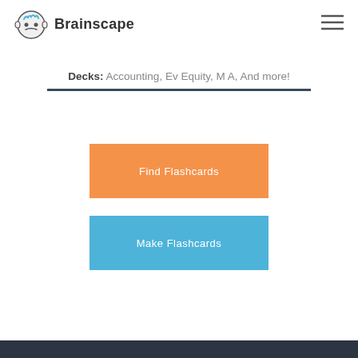Brainscape
Decks: Accounting, Ev Equity, M A, And more!
[Figure (other): Orange button labeled Find Flashcards]
[Figure (other): Blue button labeled Make Flashcards]